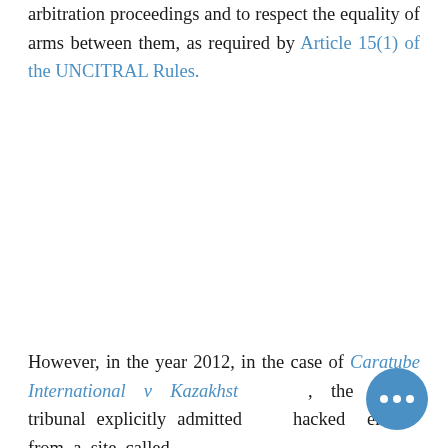arbitration proceedings and to respect the equality of arms between them, as required by Article 15(1) of the UNCITRAL Rules.
However, in the year 2012, in the case of Caratube International v Kazakhstan, the ICSID tribunal explicitly admitted hacked emails from a site called